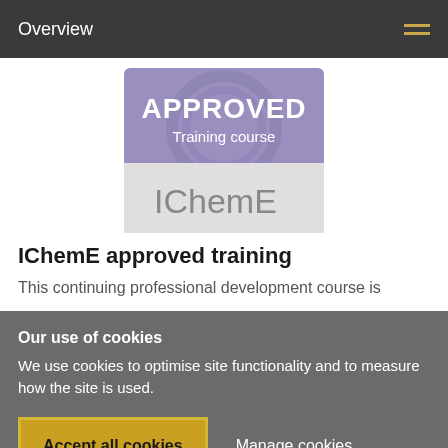Overview
[Figure (logo): IChemE Approved Training Course badge/logo with purple top section reading APPROVED Training course and gray bottom section reading IChemE]
IChemE approved training
This continuing professional development course is
Our use of cookies
We use cookies to optimise site functionality and to measure how the site is used.
Accept all cookies
Manage cookies